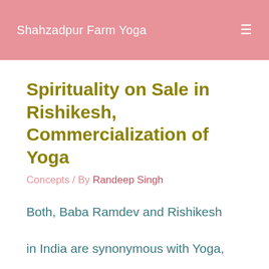Shahzadpur Farm Yoga
Spirituality on Sale in Rishikesh, Commercialization of Yoga
Concepts / By Randeep Singh
Both, Baba Ramdev and Rishikesh in India are synonymous with Yoga, or the Yoga as seen by the modern world.